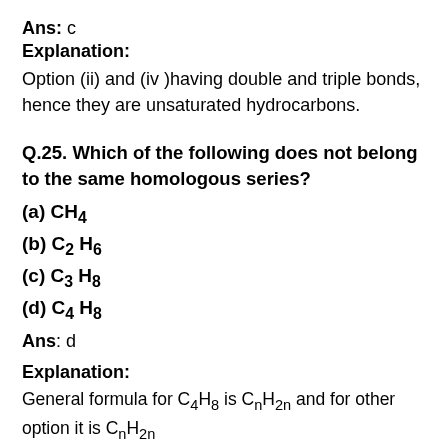Ans: c
Explanation:
Option (ii) and (iv )having double and triple bonds, hence they are unsaturated hydrocarbons.
Q.25. Which of the following does not belong to the same homologous series?
(a) CH4
(b) C2H6
(c) C3H8
(d) C4H8
Ans: d
Explanation:
General formula for C4H8 is CnH2n and for other option it is CnH...